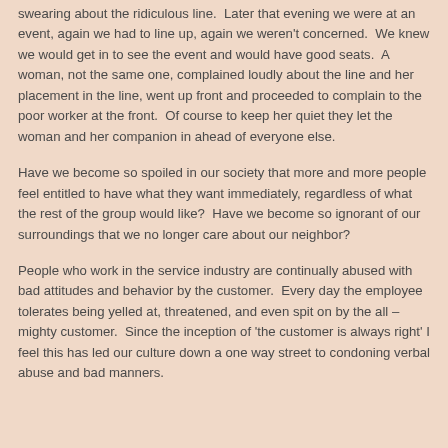swearing about the ridiculous line.  Later that evening we were at an event, again we had to line up, again we weren't concerned.  We knew we would get in to see the event and would have good seats.  A woman, not the same one, complained loudly about the line and her placement in the line, went up front and proceeded to complain to the poor worker at the front.  Of course to keep her quiet they let the woman and her companion in ahead of everyone else.
Have we become so spoiled in our society that more and more people feel entitled to have what they want immediately, regardless of what the rest of the group would like?  Have we become so ignorant of our surroundings that we no longer care about our neighbor?
People who work in the service industry are continually abused with bad attitudes and behavior by the customer.  Every day the employee tolerates being yelled at, threatened, and even spit on by the all – mighty customer.  Since the inception of 'the customer is always right' I feel this has led our culture down a one way street to condoning verbal abuse and bad manners.